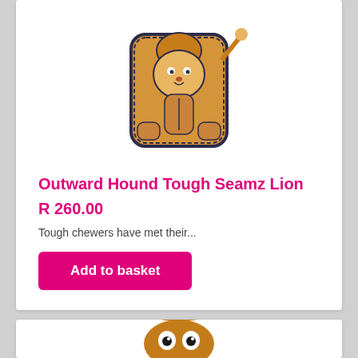[Figure (photo): Outward Hound Tough Seamz Lion dog toy — a flat squeak toy shaped like a lion with reinforced stitching visible at the top of the card]
Outward Hound Tough Seamz Lion
R 260.00
Tough chewers have met their...
Add to basket
[Figure (photo): Partial view of a second dog toy — appears to be an acorn or nut character with eyes, colored orange, gold and brown, shown at the bottom of the page]